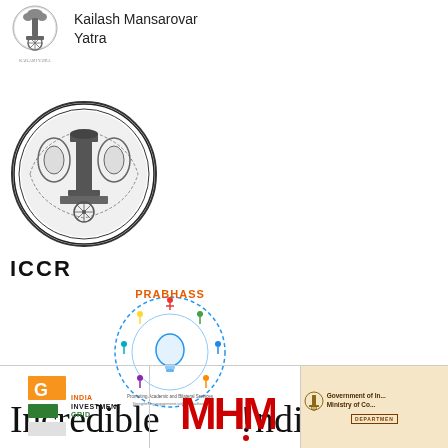[Figure (logo): Kailash Mansarovar Yatra logo with Ashoka emblem and text 'Kailash Mansarovar Yatra']
[Figure (logo): ICCR (Indian Council for Cultural Relations) circular emblem logo with text ICCR below]
[Figure (logo): PRABHASS circular logo with colorful figures and lightbulb design]
[Figure (logo): Incredible India logo in large serif/sans font with red dot under exclamation]
[Figure (logo): India Investment Grid (IIG) logo with orange and green bars]
[Figure (logo): MHM logo in bold red letters]
[Figure (logo): Government of India Ministry of Commerce Department logo on beige background]